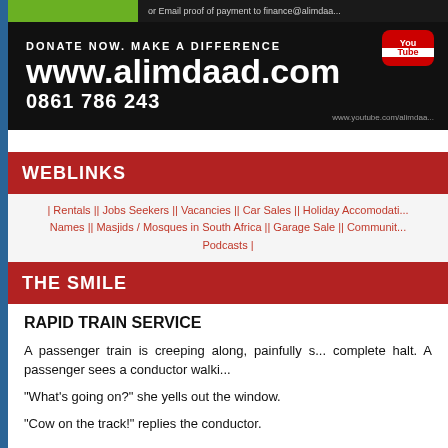[Figure (screenshot): Alimdaad donation banner with website www.alimdaad.com, phone 0861 786 243, YouTube badge, and donation call to action]
WEBLINKS
| Rentals || Jobs Seekers || Vacancies || Car Sales || Holiday Accomodati... Names || Masjids / Mosques in South Africa || Garage Sale || Communit... Podcasts |
THE SMILE
RAPID TRAIN SERVICE
A passenger train is creeping along, painfully s... complete halt. A passenger sees a conductor walki...
"What's going on?" she yells out the window.
"Cow on the track!" replies the conductor.